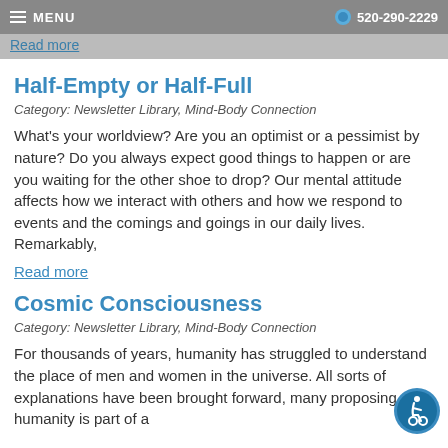MENU   520-290-2229
Read more
Half-Empty or Half-Full
Category: Newsletter Library, Mind-Body Connection
What's your worldview? Are you an optimist or a pessimist by nature? Do you always expect good things to happen or are you waiting for the other shoe to drop? Our mental attitude affects how we interact with others and how we respond to events and the comings and goings in our daily lives. Remarkably,
Read more
Cosmic Consciousness
Category: Newsletter Library, Mind-Body Connection
For thousands of years, humanity has struggled to understand the place of men and women in the universe. All sorts of explanations have been brought forward, many proposing that humanity is part of a